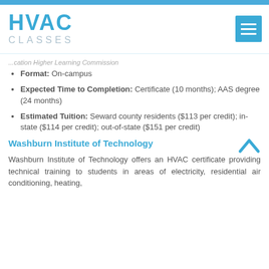HVAC CLASSES
...cation Higher Learning Commission
Format: On-campus
Expected Time to Completion: Certificate (10 months); AAS degree (24 months)
Estimated Tuition: Seward county residents ($113 per credit); in-state ($114 per credit); out-of-state ($151 per credit)
Washburn Institute of Technology
Washburn Institute of Technology offers an HVAC certificate providing technical training to students in areas of electricity, residential air conditioning, heating,